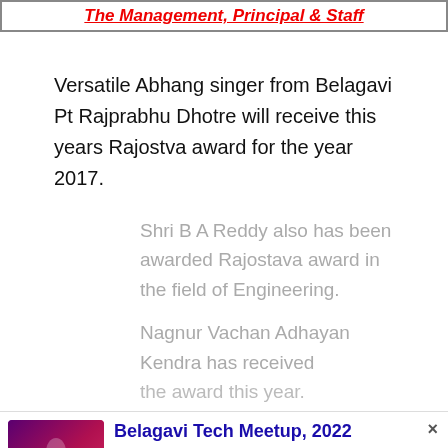The Management, Principal & Staff
Versatile Abhang singer from Belagavi Pt Rajprabhu Dhotre will receive this years Rajostva award for the year 2017.
Shri B A Reddy also has been awarded Rajostava award in the field of Engineering.
Nagnur Vachan Adhayan Kendra has received the award this year.
[Figure (other): Advertisement banner for Belagavi Tech Meetup 2022 with purple/pink gradient background and event logo]
Belagavi Tech Meetup, 2022
Anyone with an interest or backdrop of Tech and connection to Belagavi,
UXgrowth
Kala kshtera at Bengauluru in the evening. Another 61 persons